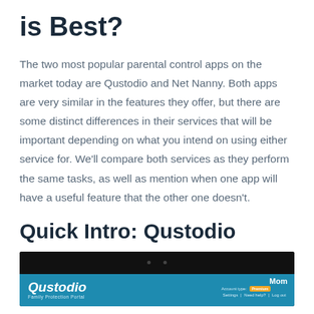is Best?
The two most popular parental control apps on the market today are Qustodio and Net Nanny. Both apps are very similar in the features they offer, but there are some distinct differences in their services that will be important depending on what you intend on using either service for. We'll compare both services as they perform the same tasks, as well as mention when one app will have a useful feature that the other one doesn't.
Quick Intro: Qustodio
[Figure (screenshot): Screenshot of the Qustodio Family Protection Portal dashboard showing the Qustodio logo in italic white text on a teal/blue bar, with 'Mom' account info and a Premium badge and navigation links (Settings, Need help?, Log out) on the right side.]